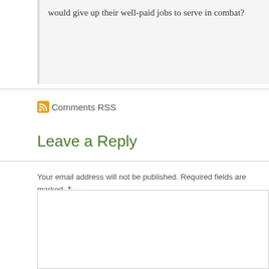would give up their well-paid jobs to serve in combat?
Comments RSS
Leave a Reply
Your email address will not be published. Required fields are marked *